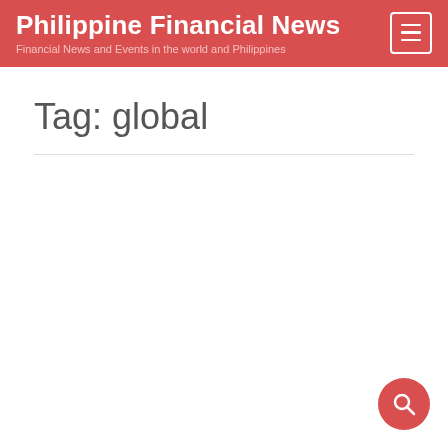Philippine Financial News
Financial News and Events in the world and Philippines
Tag: global